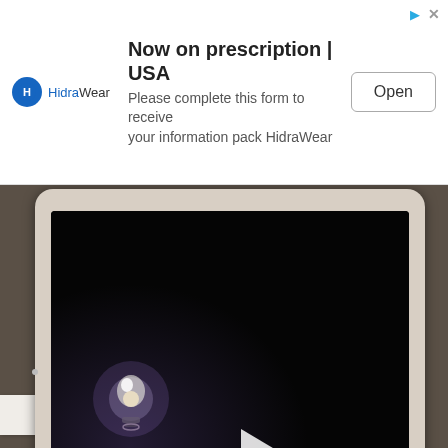[Figure (screenshot): Advertisement banner for HidraWear with logo on left, text 'Now on prescription | USA — Please complete this form to receive your information pack HidraWear', and an 'Open' button on the right. Corner icons include a blue triangle and X close button.]
[Figure (photo): Photo of a white iPad/tablet propped up on a desk showing a dark screen with a glowing lightbulb image and a white play button triangle in the center. Below the tablet is a black Bluetooth keyboard (Moshi brand). The photo is partially obscured by the ad banner at the top.]